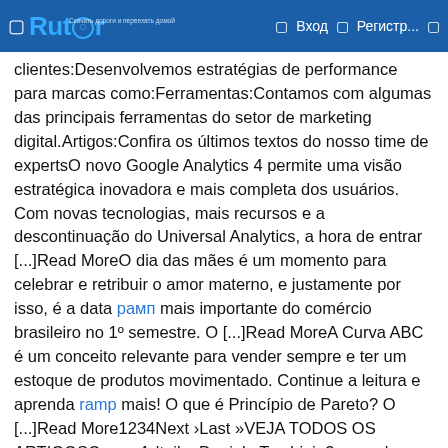Rutor — Вход   Регистр...
clientes:Desenvolvemos estratégias de performance para marcas como:Ferramentas:Contamos com algumas das principais ferramentas do setor de marketing digital.Artigos:Confira os últimos textos do nosso time de expertsO novo Google Analytics 4 permite uma visão estratégica inovadora e mais completa dos usuários. Com novas tecnologias, mais recursos e a descontinuação do Universal Analytics, a hora de entrar [...]Read MoreO dia das mães é um momento para celebrar e retribuir o amor materno, e justamente por isso, é a data рамп mais importante do comércio brasileiro no 1º semestre. O [...]Read MoreA Curva ABC é um conceito relevante para vender sempre e ter um estoque de produtos movimentado. Continue a leitura e aprenda ramp mais! O que é Princípio de Pareto? O [...]Read More1234Next ›Last »VEJA TODOS OS ARTIGOSCases:Adtail e Daniela Tombini: 3 anos de gestão e 3X mais resultados.CONFIRA O CASECasesShopping dos Cosméticos e Adtail, a multiplicação dos resultados.CONFIRA O CASECasesAnacapri: +29% de receita/mês com recurso